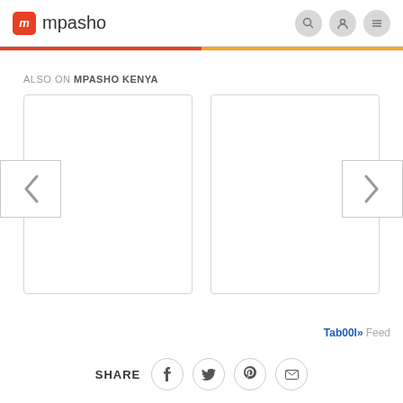mpasho
ALSO ON MPASHO KENYA
[Figure (screenshot): Two white card panels side by side with left and right navigation arrows, part of a carousel widget labeled Also on Mpasho Kenya]
Feed
SHARE